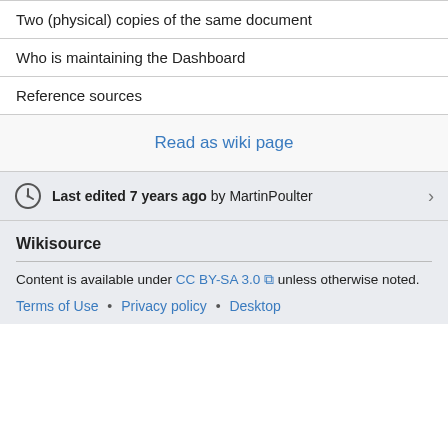Two (physical) copies of the same document
Who is maintaining the Dashboard
Reference sources
Read as wiki page
Last edited 7 years ago by MartinPoulter
Wikisource
Content is available under CC BY-SA 3.0 unless otherwise noted.
Terms of Use • Privacy policy • Desktop